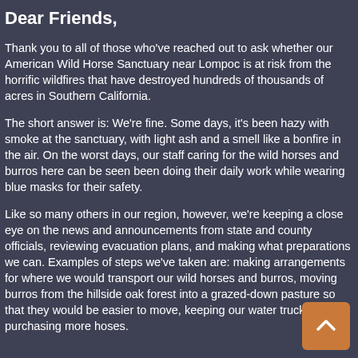Dear Friends,
Thank you to all of those who've reached out to ask whether our American Wild Horse Sanctuary near Lompoc is at risk from the horrific wildfires that have destroyed hundreds of thousands of acres in Southern California.
The short answer is: We're fine. Some days, it's been hazy with smoke at the sanctuary, with light ash and a smell like a bonfire in the air. On the worst days, our staff caring for the wild horses and burros here can be seen been doing their daily work while wearing blue masks for their safety.
Like so many others in our region, however, we're keeping a close eye on the news and announcements from state and county officials, reviewing evacuation plans, and making what preparations we can. Examples of steps we've taken are: making arrangements for where we would transport our wild horses and burros, moving burros from the hillside oak forest into a grazed-down pasture so that they would be easier to move, keeping our water truck full, and purchasing more hoses.